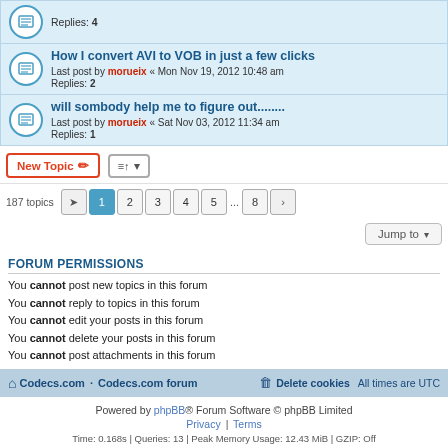How I convert AVI to VOB in just a few clicks
Last post by morueix « Mon Nov 19, 2012 10:48 am
Replies: 2
will sombody help me to figure out........
Last post by morueix « Sat Nov 03, 2012 11:34 am
Replies: 1
Replies: 4
187 topics  1 2 3 4 5 ... 8
Jump to
FORUM PERMISSIONS
You cannot post new topics in this forum
You cannot reply to topics in this forum
You cannot edit your posts in this forum
You cannot delete your posts in this forum
You cannot post attachments in this forum
Codecs.com · Codecs.com forum   Delete cookies  All times are UTC
Powered by phpBB® Forum Software © phpBB Limited
Privacy | Terms
Time: 0.168s | Queries: 13 | Peak Memory Usage: 12.43 MiB | GZIP: Off